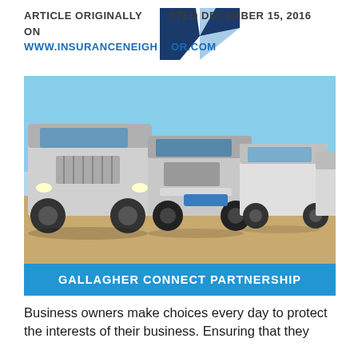ARTICLE ORIGINALLY POSTED DECEMBER 15, 2016 ON WWW.INSURANCENEIGHBOR.COM
[Figure (logo): V-shaped logo in dark navy and light blue]
[Figure (photo): A row of large semi-trucks / 18-wheelers parked in a lot under a clear blue sky]
GALLAGHER CONNECT PARTNERSHIP
Business owners make choices every day to protect the interests of their business. Ensuring that they